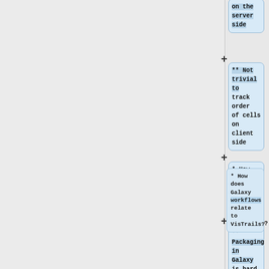on the server side
** Not trivial to track order of cells on client side
* How does Galaxy workflows relate to VisTrails?
** Packaging in Galaxy is hard
** Difficulty making